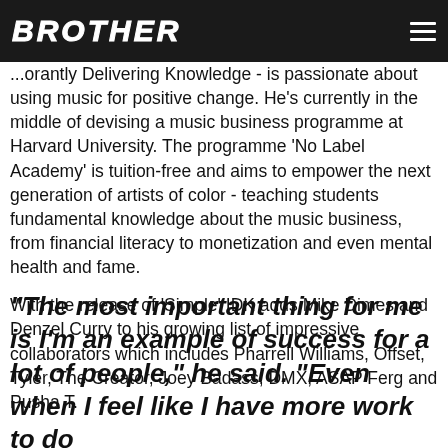BROTHER
...orantly Delivering Knowledge - is passionate about using music for positive change. He's currently in the middle of devising a music business programme at Harvard University. The programme 'No Label Academy' is tuition-free and aims to empower the next generation of artists of color - teaching students fundamental knowledge about the music business, from financial literacy to monetization and even mental health and fame.
With the release of 'Simple' IDK adds Mike Dimes and Denzel Curry to his growing list of impressive collaborators which includes Pharrell Williams, Offset, Tyler, The Creator, Joey Badass, DMX, ASAP Ferg and Pusha T.
“The most important thing for me is I’m an example of success for a lot of people,” he said. “Even when I feel like I have more work to do